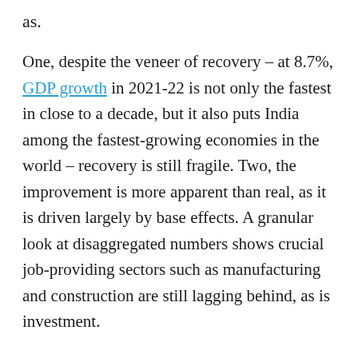as.
One, despite the veneer of recovery – at 8.7%, GDP growth in 2021-22 is not only the fastest in close to a decade, but it also puts India among the fastest-growing economies in the world – recovery is still fragile. Two, the improvement is more apparent than real, as it is driven largely by base effects. A granular look at disaggregated numbers shows crucial job-providing sectors such as manufacturing and construction are still lagging behind, as is investment.
Three, the numbers underscore just what we are up against. After close to a decade, the dreaded twin deficits – fiscal and current